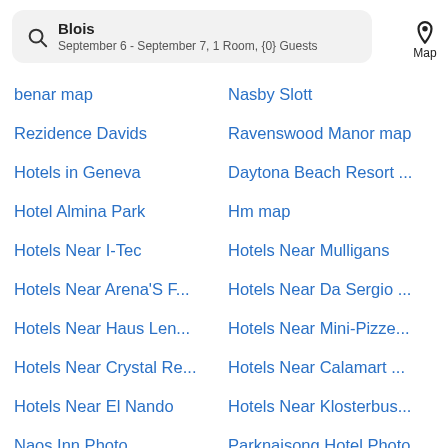Blois — September 6 - September 7, 1 Room, {0} Guests — Map
benar map
Nasby Slott
Rezidence Davids
Ravenswood Manor map
Hotels in Geneva
Daytona Beach Resort ...
Hotel Almina Park
Hm map
Hotels Near I-Tec
Hotels Near Mulligans
Hotels Near Arena'S F...
Hotels Near Da Sergio ...
Hotels Near Haus Len...
Hotels Near Mini-Pizze...
Hotels Near Crystal Re...
Hotels Near Calamart ...
Hotels Near El Nando
Hotels Near Klosterbus...
Naos Inn Photo
Parknaisong Hotel Photo
Strand Continental Photo
Holiday Home Vistas d...
Ella Tunnel Corner Inn ...
Complejo Aquarium - 1...
Desagtours Panzió Photo
Flahult Holiday Home ...